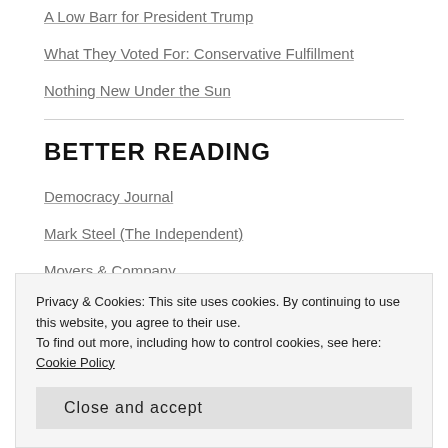A Low Barr for President Trump
What They Voted For: Conservative Fulfillment
Nothing New Under the Sun
BETTER READING
Democracy Journal
Mark Steel (The Independent)
Moyers & Company
Slog
Privacy & Cookies: This site uses cookies. By continuing to use this website, you agree to their use.
To find out more, including how to control cookies, see here: Cookie Policy
Close and accept